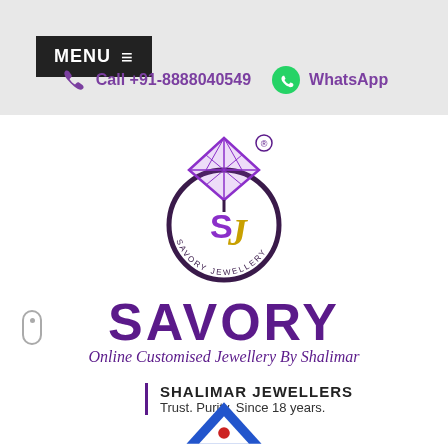MENU ☰
Call +91-8888040549   WhatsApp
[Figure (logo): Savory Jewellery logo — circular ring with diamond on top, SJ monogram in purple and gold inside, 'SAVORY JEWELLERY' text around bottom of ring, registered trademark symbol]
SAVORY
Online Customised Jewellery By Shalimar
SHALIMAR JEWELLERS
Trust. Purity. Since 18 years.
[Figure (logo): Blue triangle/chevron logo with a red dot in the center, partially visible at bottom of page]